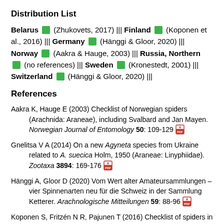Distribution List
Belarus (Zhukovets, 2017) ||| Finland (Koponen et al., 2016) ||| Germany (Hänggi & Gloor, 2020) ||| Norway (Aakra & Hauge, 2003) ||| Russia, Northern (no references) ||| Sweden (Kronestedt, 2001) ||| Switzerland (Hänggi & Gloor, 2020) |||
References
Aakra K, Hauge E (2003) Checklist of Norwegian spiders (Arachnida: Araneae), including Svalbard and Jan Mayen. Norwegian Journal of Entomology 50: 109-129
Gnelitsa V A (2014) On a new Agyneta species from Ukraine related to A. suecica Holm, 1950 (Araneae: Linyphiidae). Zootaxa 3894: 169-176
Hänggi A, Gloor D (2020) Vom Wert alter Amateursammlungen – vier Spinnenarten neu für die Schweiz in der Sammlung Ketterer. Arachnologische Mitteilungen 59: 88-96
Koponen S, Fritzén N R, Pajunen T (2016) Checklist of spiders in ...